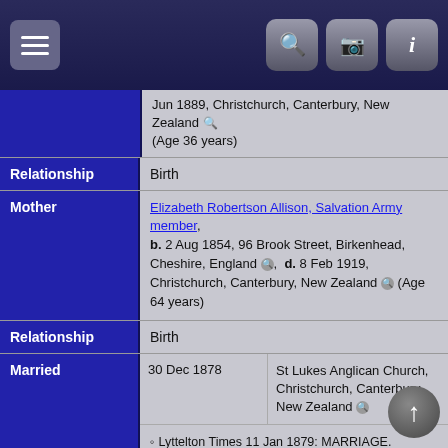Navigation bar with menu and search/camera/info icons
Jun 1889, Christchurch, Canterbury, New Zealand (Age 36 years)
| Field | Value |
| --- | --- |
| Relationship | Birth |
| Mother | Elizabeth Robertson Allison, Salvation Army member, b. 2 Aug 1854, 96 Brook Street, Birkenhead, Cheshire, England, d. 8 Feb 1919, Christchurch, Canterbury, New Zealand (Age 64 years) |
| Relationship | Birth |
| Married | 30 Dec 1878 | St Lukes Anglican Church, Christchurch, Canterbury, New Zealand |
|  | Lyttelton Times 11 Jan 1879: MARRIAGE. Brunsden-Allison.— On Dec. 30, at St. Luke's Church, by the Rev. E. A. Lingard, William Donaldson, eldest son of the late R. Brunsden, Esq., to Elizabeth Robertson, second daughter of Mr John Allison, builder, both of Christchurch. |
| Family ID | F141 | Group Sheet | Family Chart |
Ernest Arthur Gasson, Builder, Canterbury rugby league player and Canterbury cricketer, b. 14 Aug 1887, Stanley Street, Sydenham, Christchurch,